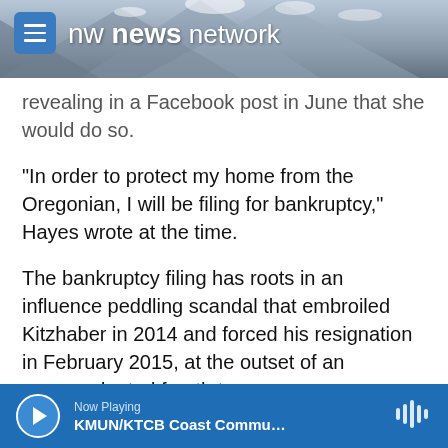nw news network
revealing in a Facebook post in June that she would do so.
“In order to protect my home from the Oregonian, I will be filing for bankruptcy,” Hayes wrote at the time.
The bankruptcy filing has roots in an influence peddling scandal that embroiled Kitzhaber in 2014 and forced his resignation in February 2015, at the outset of an unprecedented fourth term as governor.
The scandal emanated from Hayes’ combined role
Now Playing
KMUN/KTCB Coast Commu…